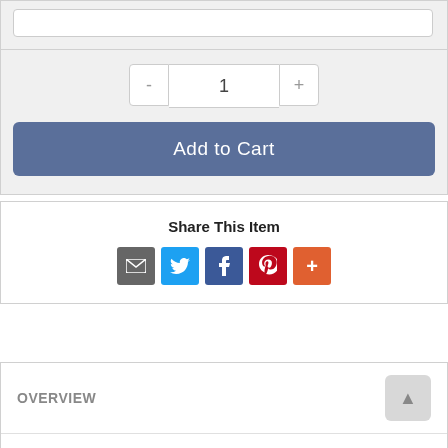[Figure (screenshot): Text input box, empty, with rounded border]
[Figure (screenshot): Quantity selector with minus button, value 1, plus button]
[Figure (screenshot): Add to Cart button, blue-gray rounded rectangle]
Share This Item
[Figure (screenshot): Social share icons: email (gray), Twitter (blue), Facebook (dark blue), Pinterest (red), More (orange)]
OVERVIEW
SPECS